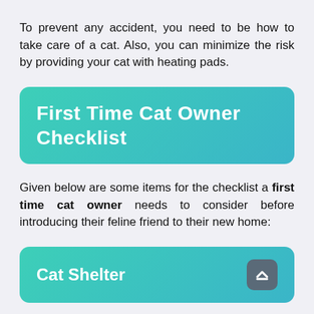To prevent any accident, you need to be how to take care of a cat. Also, you can minimize the risk by providing your cat with heating pads.
First Time Cat Owner Checklist
Given below are some items for the checklist a first time cat owner needs to consider before introducing their feline friend to their new home:
Cat Shelter